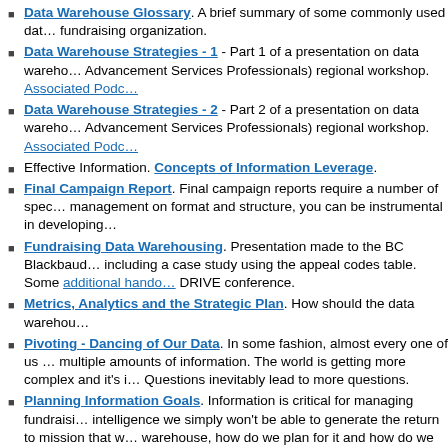Data Warehouse Glossary. A brief summary of some commonly used data warehouse terms used in a fundraising organization.
Data Warehouse Strategies - 1 - Part 1 of a presentation on data warehousing at a CASE (Council for Advancement Services Professionals) regional workshop. Associated Podcast
Data Warehouse Strategies - 2 - Part 2 of a presentation on data warehousing at a CASE (Council for Advancement Services Professionals) regional workshop. Associated Podcast
Effective Information. Concepts of Information Leverage.
Final Campaign Report. Final campaign reports require a number of specific data elements. While management on format and structure, you can be instrumental in developing...
Fundraising Data Warehousing. Presentation made to the BC Blackbaud conference including a case study using the appeal codes table. Some additional handouts from the DRIVE conference.
Metrics, Analytics and the Strategic Plan. How should the data warehouse support...
Pivoting - Dancing of Our Data. In some fashion, almost every one of us is attempting to manage multiple amounts of information. The world is getting more complex and it's increasing rapidly. Questions inevitably lead to more questions.
Planning Information Goals. Information is critical for managing fundraising. Without business intelligence we simply won't be able to generate the return to mission that we need. If we need a warehouse, how do we plan for it and how do we set our priorities?
7 Data Warehouse Ideas. Presentation on some interesting ideas to include...
Star Schema, Dimensions, Facts, Surrogate Keys. There are abundant resources... This is a general overview of some of the basics in an attempt to relate these...
Survey on Report Writing.
Understanding Reporting. Understanding advancement/development reporting...
Value of User Defined Functions. When building out your data warehouse you should consider using functions as a way to leverage your programming for repetitive tasks.
View for Business Intelligence. The world changes and the pace of change is accelerating. We need to keep pace with major trends – these trends are worth watching and...
Visual Analytics. We need to understand the use of visual analytics in our...
Why Reporting Services? Comparisons of reporting solutions using PDF...